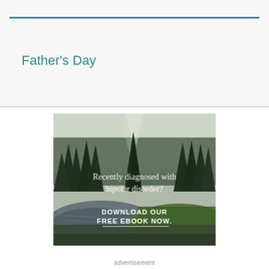Father's Day
[Figure (photo): Advertisement image showing a forest path with a river. Text reads: 'Recently diagnosed with bipolar disorder? DOWNLOAD OUR FREE EBOOK NOW.']
advertisement